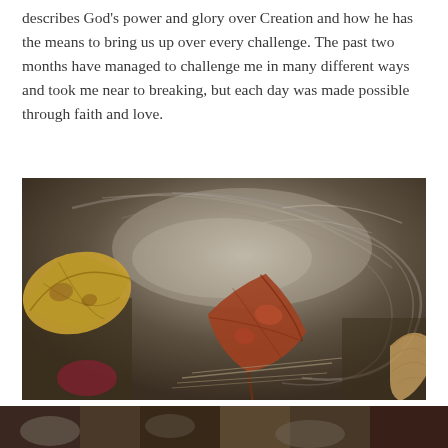describes God's power and glory over Creation and how he has the means to bring us up over every challenge. The past two months have managed to challenge me in many different ways and took me near to breaking, but each day was made possible through faith and love.
[Figure (photo): Close-up photograph of autumn leaves (yellow, orange, and red-brown maple leaves) floating on swirling dark water with circular ripple patterns. Pine needles and other debris also visible in the water.]
[Figure (photo): Partial view of another photograph at the bottom of the page, cut off.]